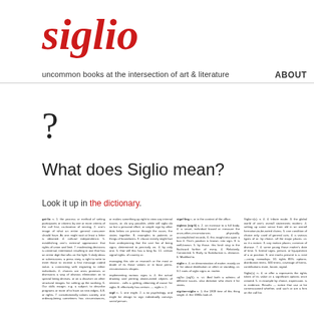siglio
uncommon books at the intersection of art & literature
ABOUT
?
What does Siglio mean?
Look it up in the dictionary.
Dictionary entry text content (small print, multi-column dictionary definitions)